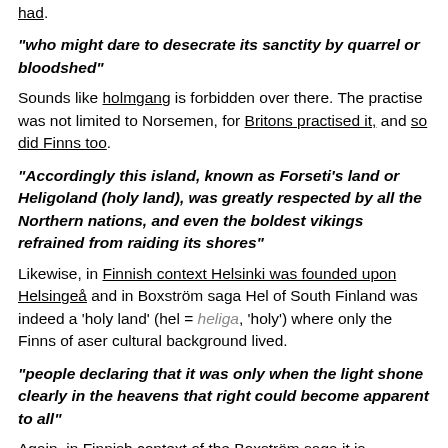had.
"who might dare to desecrate its sanctity by quarrel or bloodshed"
Sounds like holmgang is forbidden over there. The practise was not limited to Norsemen, for Britons practised it, and so did Finns too.
"Accordingly this island, known as Forseti's land or Heligoland (holy land), was greatly respected by all the Northern nations, and even the boldest vikings refrained from raiding its shores"
Likewise, in Finnish context Helsinki was founded upon Helsingeå and in Boxström saga Hel of South Finland was indeed a 'holy land' (hel = heliga, 'holy') where only the Finns of aser cultural background lived.
"people declaring that it was only when the light shone clearly in the heavens that right could become apparent to all"
Again, in Finnish context of the Boxström saga it is highlighted how